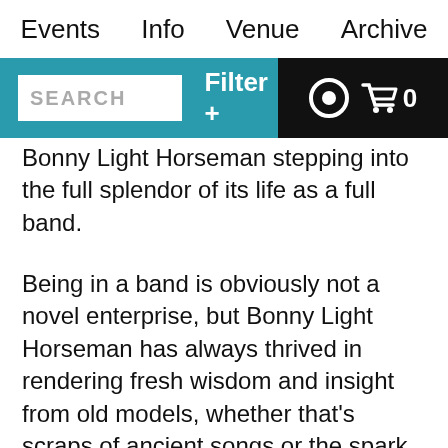Events  Info  Venue  Archive
Bonny Light Horseman stepping into the full splendor of its life as a full band.
Being in a band is obviously not a novel enterprise, but Bonny Light Horseman has always thrived in rendering fresh wisdom and insight from old models, whether that's scraps of ancient songs or the spark of ever-entwined voices. This is a network of mutualism, created for sharing, learning, risking, singing, and playing as one, not as mere sums of fractions. Rolling Golden Holy, then, is Bonny Light Horseman's testament to interdependence, partnership, and trust at a moment when we crave such connections so much. Anaïs